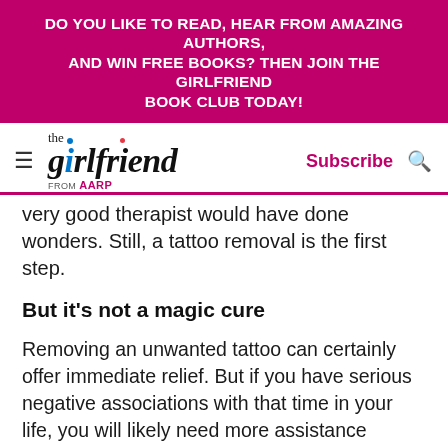DO YOU LIKE TO READ, HEAR FROM AMAZING AUTHORS, AND WIN FREE BOOKS? THEN JOIN THE GIRLFRIEND BOOK CLUB TODAY!
the girlfriend FROM AARP — Subscribe
very good therapist would have done wonders. Still, a tattoo removal is the first step.
But it's not a magic cure
Removing an unwanted tattoo can certainly offer immediate relief. But if you have serious negative associations with that time in your life, you will likely need more assistance processing your pain, says Rachel Astarte, a psychotherapist and author of Celebrating Solitude. Seeing a therapist or counselor can help you work through the residual feelings that may linger long after your tattoo is